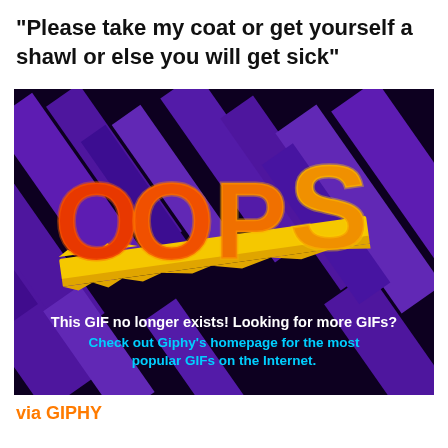"Please take my coat or get yourself a shawl or else you will get sick"
[Figure (illustration): GIPHY 'Oops' error image with colorful graffiti-style OOPS text on dark purple background with diagonal bars. Text reads: 'This GIF no longer exists! Looking for more GIFs? Check out Giphy's homepage for the most popular GIFs on the Internet.']
via GIPHY